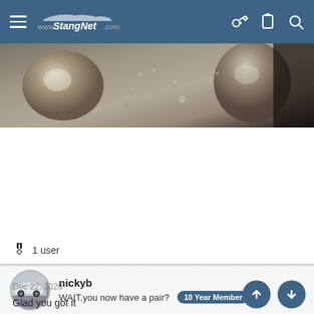www.StangNet.com
[Figure (photo): Close-up photo of metallic exhaust pipes against a concrete/gravel background, partially cropped at top of frame]
🎖 1 user
nickyb
WAIT,you now have a pair? 10 Year Member
Dec 22, 2020
Glad you got it